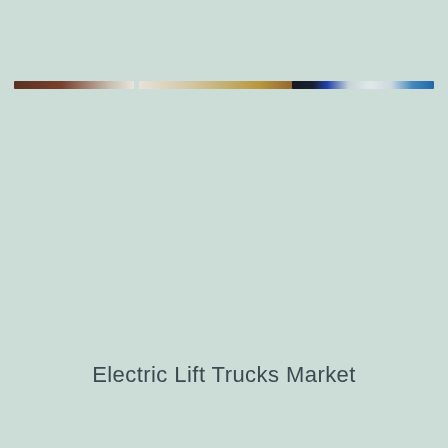[Figure (other): Decorative horizontal bar with gradient colors spanning brown, white, tan/gold, dark brown/black, dark navy, light gray, and blue tones]
Electric Lift Trucks Market